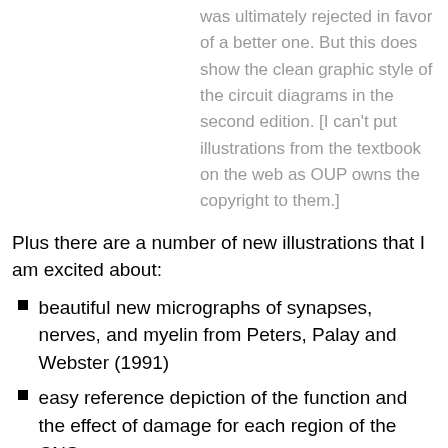was ultimately rejected in favor of a better one. But this does show the clean graphic style of the circuit diagrams in the second edition. [I can't put illustrations from the textbook on the web as OUP owns the copyright to them.]
Plus there are a number of new illustrations that I am excited about:
beautiful new micrographs of synapses, nerves, and myelin from Peters, Palay and Webster (1991)
easy reference depiction of the function and the effect of damage for each region of the CNS
quadrupedal topography of spinal cord
time series of arteriograms of anterior circulation (thanks to my friend and colleague Javad Hekmat-Panah)